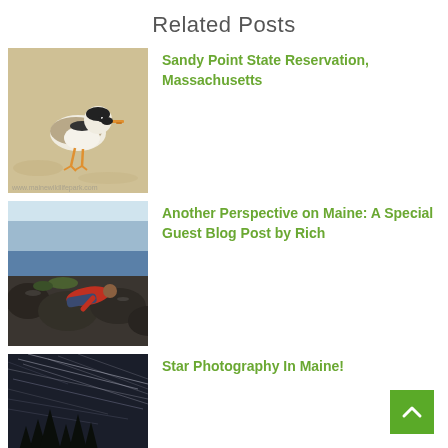Related Posts
[Figure (photo): A piping plover bird standing on sandy beach]
Sandy Point State Reservation, Massachusetts
[Figure (photo): Person lying on rocks by the ocean in Maine, wearing red jacket]
Another Perspective on Maine: A Special Guest Blog Post by Rich
[Figure (photo): Long exposure star trail photography over pine trees in Maine at night]
Star Photography In Maine!